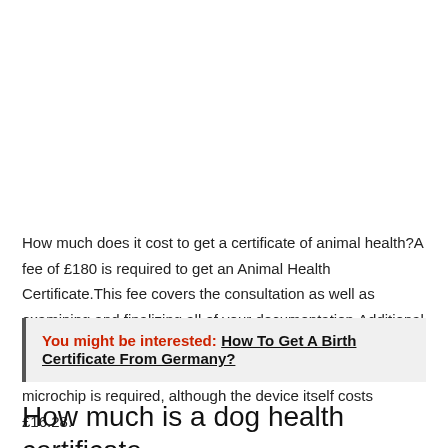How much does it cost to get a certificate of animal health?A fee of £180 is required to get an Animal Health Certificate.This fee covers the consultation as well as examining and finalizing all of your documentation.Additional costs will be incurred for any immunizations or prescriptions that are necessary in addition.One time implantation of a microchip is required, although the device itself costs £16.28.
You might be interested: How To Get A Birth Certificate From Germany?
How much is a dog health certificate